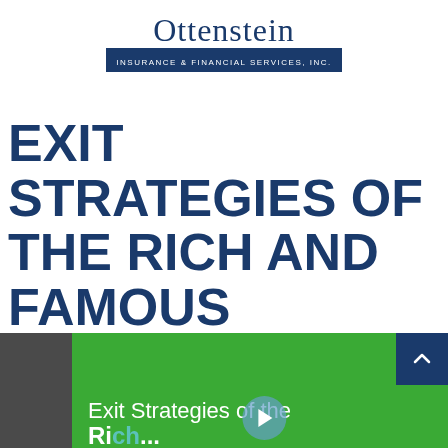Ottenstein Insurance & Financial Services, Inc.
EXIT STRATEGIES OF THE RICH AND FAMOUS
Estate conservation is too important to put off. Do you have a smart exit strategy?
[Figure (screenshot): Green video thumbnail at bottom showing 'Exit Strategies of the Rich...' with a play button, flanked by dark grey panel on left and blue scroll-to-top button on right]